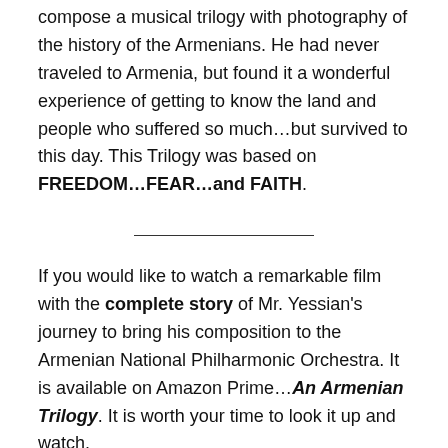compose a musical trilogy with photography of the history of the Armenians. He had never traveled to Armenia, but found it a wonderful experience of getting to know the land and people who suffered so much…but survived to this day. This Trilogy was based on FREEDOM…FEAR…and FAITH.
If you would like to watch a remarkable film with the complete story of Mr. Yessian's journey to bring his composition to the Armenian National Philharmonic Orchestra. It is available on Amazon Prime…An Armenian Trilogy. It is worth your time to look it up and watch.
AN IMPORTANT THOUGHT